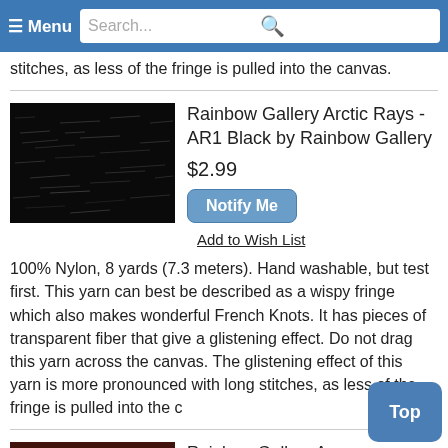≡ Menu   Search...
stitches, as less of the fringe is pulled into the canvas.
[Figure (photo): Close-up photo of black textured yarn/fiber material showing wispy fringe texture]
Rainbow Gallery Arctic Rays - AR1 Black by Rainbow Gallery
$2.99
Notify Me
Add to Wish List
100% Nylon, 8 yards (7.3 meters). Hand washable, but test first. This yarn can best be described as a wispy fringe which also makes wonderful French Knots. It has pieces of transparent fiber that give a glistening effect. Do not drag this yarn across the canvas. The glistening effect of this yarn is more pronounced with long stitches, as less of the fringe is pulled into the c
[Figure (photo): Partial view of another product image at bottom of page, appears to show dark red/maroon yarn]